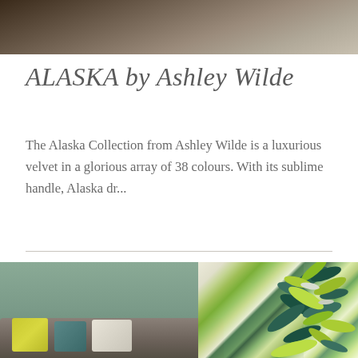[Figure (photo): Top portion of a room interior photo, showing a dark wooden surface or furniture piece with warm brown tones]
ALASKA by Ashley Wilde
The Alaska Collection from Ashley Wilde is a luxurious velvet in a glorious array of 38 colours. With its sublime handle, Alaska dr...
[Figure (photo): Bottom photo showing a room interior with sage green walls, grey sofa with yellow and teal cushions, and tropical leaf patterned curtains in green, teal and white on the right side]